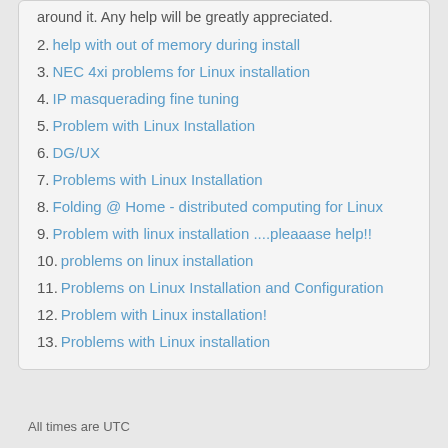around it. Any help will be greatly appreciated.
2. help with out of memory during install
3. NEC 4xi problems for Linux installation
4. IP masquerading fine tuning
5. Problem with Linux Installation
6. DG/UX
7. Problems with Linux Installation
8. Folding @ Home - distributed computing for Linux
9. Problem with linux installation ....pleaaase help!!
10. problems on linux installation
11. Problems on Linux Installation and Configuration
12. Problem with Linux installation!
13. Problems with Linux installation
All times are UTC